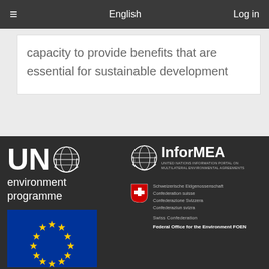English   Log in
capacity to provide benefits that are essential for sustainable development
[Figure (logo): UN Environment Programme logo with globe emblem]
[Figure (logo): European Union flag - Co-financed by the Connecting Europe Facility of the European Union]
Co-financed by the Connecting Europe Facility of the European Union
[Figure (logo): InforMEA - United Nations Information Portal on Multilateral Environmental Agreements logo]
[Figure (logo): Swiss Confederation shield logo]
Schweizerische Eidgenossenschaft Confederation suisse Confederazione Svizzera Confederaziun svizra
Swiss Confederation
Federal Office for the Environment FOEN